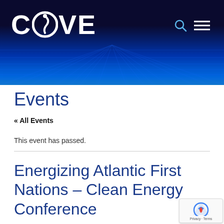[Figure (logo): COVE logo in white on dark navy/blue gradient banner with grid lines]
Events
« All Events
This event has passed.
Energizing Atlantic First Nations – Clean Energy Conference